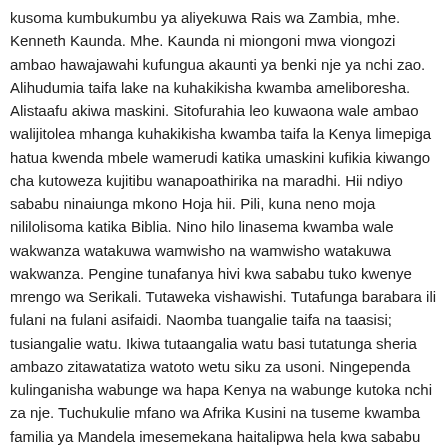kusoma kumbukumbu ya aliyekuwa Rais wa Zambia, mhe. Kenneth Kaunda. Mhe. Kaunda ni miongoni mwa viongozi ambao hawajawahi kufungua akaunti ya benki nje ya nchi zao. Alihudumia taifa lake na kuhakikisha kwamba ameliboresha. Alistaafu akiwa maskini. Sitofurahia leo kuwaona wale ambao walijitolea mhanga kuhakikisha kwamba taifa la Kenya limepiga hatua kwenda mbele wamerudi katika umaskini kufikia kiwango cha kutoweza kujitibu wanapoathirika na maradhi. Hii ndiyo sababu ninaiunga mkono Hoja hii. Pili, kuna neno moja nililolisoma katika Biblia. Nino hilo linasema kwamba wale wakwanza watakuwa wamwisho na wamwisho watakuwa wakwanza. Pengine tunafanya hivi kwa sababu tuko kwenye mrengo wa Serikali. Tutaweka vishawishi. Tutafunga barabara ili fulani na fulani asifaidi. Naomba tuangalie taifa na taasisi; tusiangalie watu. Ikiwa tutaangalia watu basi tutatunga sheria ambazo zitawatatiza watoto wetu siku za usoni. Ningependa kulinganisha wabunge wa hapa Kenya na wabunge kutoka nchi za nje. Tuchukulie mfano wa Afrika Kusini na tuseme kwamba familia ya Mandela imesemekana haitalipwa hela kwa sababu Mandela alihusika na kampeni za ANC. Ama tuchukulie mfano mwingine wa nchi jirani Tanzania na tuseme kwamba familia ya Mwalimu Kabarage Nyerere isilipwe malipo ya uzeeni kwa